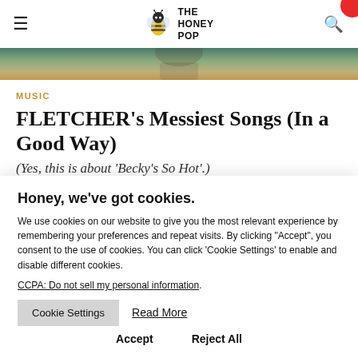THE HONEY POP navigation bar with hamburger menu and search icon
[Figure (photo): Partial hero image strip showing a person, cropped at top]
MUSIC
FLETCHER's Messiest Songs (In a Good Way)
(Yes, this is about 'Becky's So Hot'.)
Honey, we've got cookies.
We use cookies on our website to give you the most relevant experience by remembering your preferences and repeat visits. By clicking "Accept", you consent to the use of cookies. You can click 'Cookie Settings' to enable and disable different cookies.
CCPA: Do not sell my personal information.
Cookie Settings   Read More
Accept   Reject All